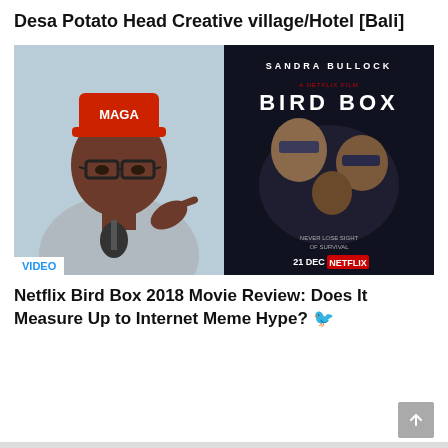Desa Potato Head Creative village/Hotel [Bali]
[Figure (photo): Two side-by-side images: left shows a man wearing a red MAGA cap and glasses, pointing at a microphone; right shows the Bird Box (2018) Netflix movie poster featuring Sandra Bullock blindfolded. A 'VIDEO' label appears at the bottom left of the combined image.]
VIDEO
Netflix Bird Box 2018 Movie Review: Does It Measure Up to Internet Meme Hype? 🐦